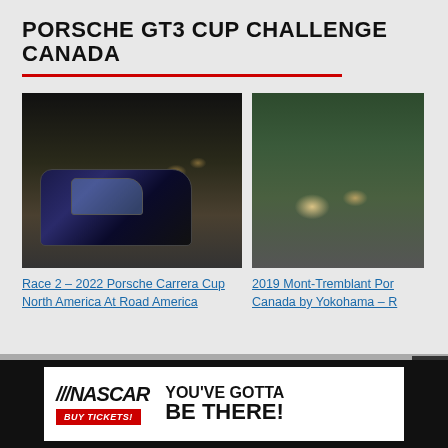PORSCHE GT3 CUP CHALLENGE CANADA
[Figure (photo): Night racing scene with Porsche GT3 cars on track, headlights illuminated, lead car prominently visible]
Race 2 – 2022 Porsche Carrera Cup North America At Road America
[Figure (photo): Daytime racing scene with Porsche GT3 cars navigating a wet or misty circuit corner]
2019 Mont-Tremblant Porsche GT3 Cup Challenge Canada by Yokohama – R
[Figure (other): NASCAR advertisement banner: NASCAR BUY TICKETS! YOU'VE GOTTA BE THERE!]